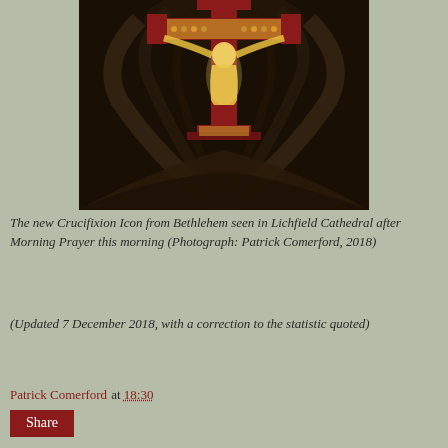[Figure (photo): A crucifixion icon mounted at the top of gothic cathedral vaulting, viewed from below. The ornate cross with a gilded Christ figure is set against decorated arches, red and gold decorative elements visible on the cross arms.]
The new Crucifixion Icon from Bethlehem seen in Lichfield Cathedral after Morning Prayer this morning (Photograph: Patrick Comerford, 2018)
(Updated 7 December 2018, with a correction to the statistic quoted)
Patrick Comerford at 18:30
Share